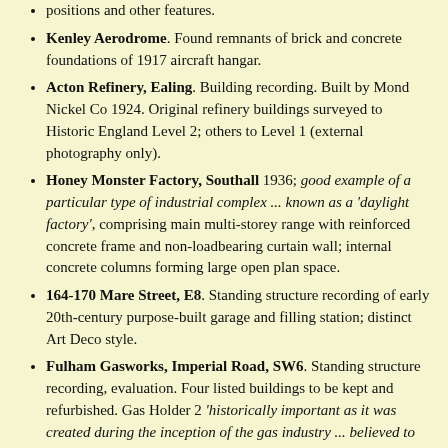positions and other features.
Kenley Aerodrome. Found remnants of brick and concrete foundations of 1917 aircraft hangar.
Acton Refinery, Ealing. Building recording. Built by Mond Nickel Co 1924. Original refinery buildings surveyed to Historic England Level 2; others to Level 1 (external photography only).
Honey Monster Factory, Southall 1936; good example of a particular type of industrial complex ... known as a 'daylight factory', comprising main multi-storey range with reinforced concrete frame and non-loadbearing curtain wall; internal concrete columns forming large open plan space.
164-170 Mare Street, E8. Standing structure recording of early 20th-century purpose-built garage and filling station; distinct Art Deco style.
Fulham Gasworks, Imperial Road, SW6. Standing structure recording, evaluation. Four listed buildings to be kept and refurbished. Gas Holder 2 'historically important as it was created during the inception of the gas industry ... believed to be the oldest gasholder in the